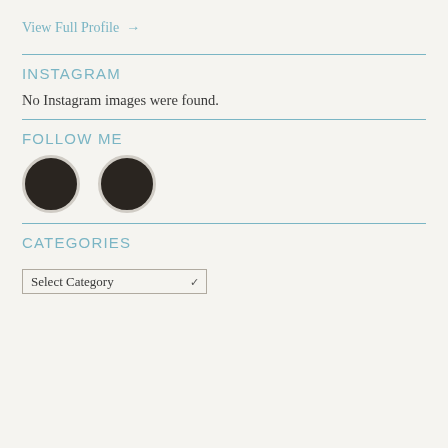View Full Profile →
INSTAGRAM
No Instagram images were found.
FOLLOW ME
[Figure (illustration): Two dark circular social media icon buttons side by side]
CATEGORIES
Select Category